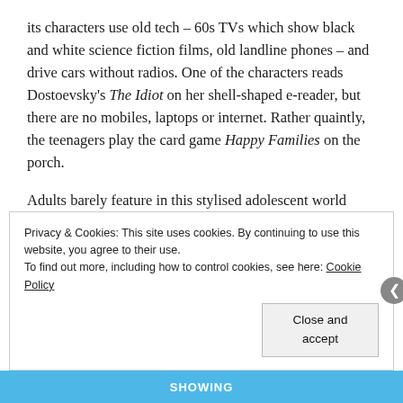its characters use old tech – 60s TVs which show black and white science fiction films, old landline phones – and drive cars without radios. One of the characters reads Dostoevsky's The Idiot on her shell-shaped e-reader, but there are no mobiles, laptops or internet. Rather quaintly, the teenagers play the card game Happy Families on the porch.
Adults barely feature in this stylised adolescent world beyond being carriers for the 'thing'. Jay's mother makes a brief appearance early on. A teacher reads T.S. Eliot's poem The Love Song of Alfred J. Prufrock aloud in an English class: 'in short, I was afraid ...'
Privacy & Cookies: This site uses cookies. By continuing to use this website, you agree to their use.
To find out more, including how to control cookies, see here: Cookie Policy